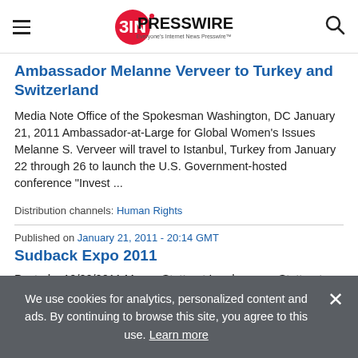EINPresswire — Everyone's Internet News Presswire
Ambassador Melanne Verveer to Turkey and Switzerland
Media Note Office of the Spokesman Washington, DC January 21, 2011 Ambassador-at-Large for Global Women's Issues Melanne S. Verveer will travel to Istanbul, Turkey from January 22 through 26 to launch the U.S. Government-hosted conference "Invest ...
Distribution channels: Human Rights
Published on January 21, 2011 - 20:14 GMT
Sudback Expo 2011
Posted:   10/22/2011 Messe Stuttgart Landemesse Stuttgart, Baden-Wurttemberg,  de   Organised by Messe
We use cookies for analytics, personalized content and ads. By continuing to browse this site, you agree to this use. Learn more